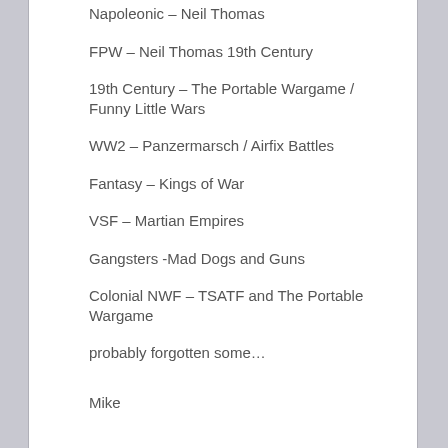Napoleonic – Neil Thomas
FPW – Neil Thomas 19th Century
19th Century – The Portable Wargame / Funny Little Wars
WW2 – Panzermarsch / Airfix Battles
Fantasy – Kings of War
VSF – Martian Empires
Gangsters -Mad Dogs and Guns
Colonial NWF – TSATF and The Portable Wargame
probably forgotten some…
Mike